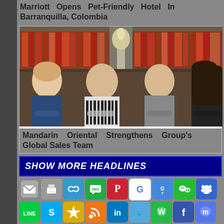Marriott Opens Pet-Friendly Hotel In Barranquilla, Colombia
[Figure (photo): Group photo of four hospitality professionals (two men, two women) posing in front of a bookshelf with decorative branches]
Mandarin Oriental Strengthens Group's Global Sales Team
SHOW MORE HEADLINES
[Figure (infographic): Row of social sharing icon buttons: email, print, copy link, SMS, Pinterest, Google, Google Translate, WeChat, Baidu]
[Figure (infographic): Row of social sharing icon buttons: LINE, Skype, Favorites star, RSS, LinkedIn, Twitter, WhatsApp, Facebook, Messenger]